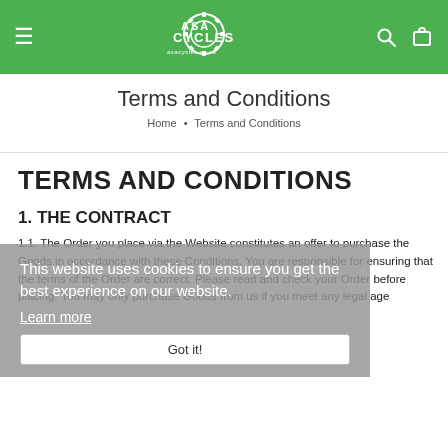ASA Cycles — navigation header with hamburger menu, logo, search icon, and cart icon
Terms and Conditions
Home • Terms and Conditions
TERMS AND CONDITIONS
1. THE CONTRACT
1.1. The Order you place via the Website constitutes an offer to purchase the Goods in accordance with these Conditions. You are responsible for ensuring that the terms of the Order are correct. Please read and check your Order before placing. You may only purchase Goods from us if you meet any legal age
This website uses cookies to ensure you get the best experience on our website. Learn more Got it!